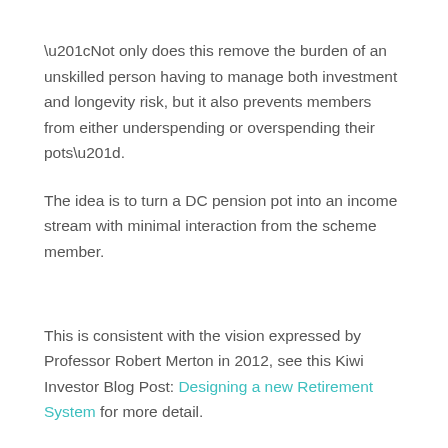“Not only does this remove the burden of an unskilled person having to manage both investment and longevity risk, but it also prevents members from either underspending or overspending their pots”.
The idea is to turn a DC pension pot into an income stream with minimal interaction from the scheme member.
This is consistent with the vision expressed by Professor Robert Merton in 2012, see this Kiwi Investor Blog Post: Designing a new Retirement System for more detail.